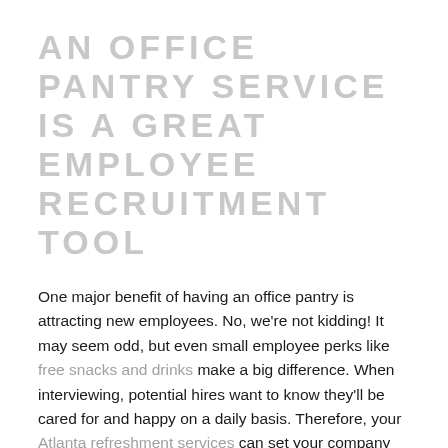AN OFFICE PANTRY SERVICE IS A GREAT EMPLOYEE RECRUITMENT TOOL
One major benefit of having an office pantry is attracting new employees. No, we're not kidding! It may seem odd, but even small employee perks like free snacks and drinks make a big difference. When interviewing, potential hires want to know they'll be cared for and happy on a daily basis. Therefore, your Atlanta refreshment services can set your company apart from the competition. You'll be able to recruit the best employees possible!
AN OFFICE PANTRY